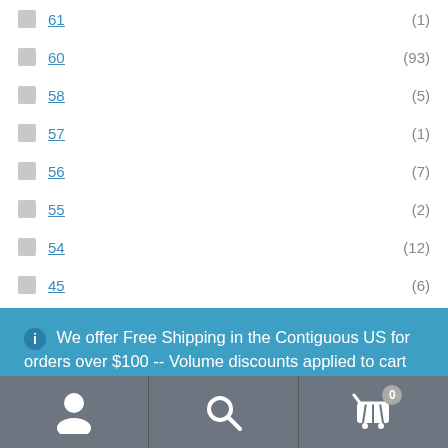61 (1)
60 (93)
58 (5)
57 (1)
56 (7)
55 (2)
54 (12)
45 (6)
We offer Free Shipping in the Contiguous US for orders over $100 -- Volume discounts applied to cart quantity. Dismiss